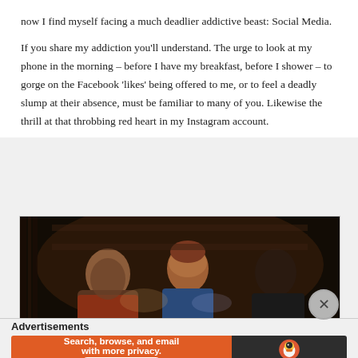now I find myself facing a much deadlier addictive beast: Social Media.
If you share my addiction you'll understand. The urge to look at my phone in the morning – before I have my breakfast, before I shower – to gorge on the Facebook 'likes' being offered to me, or to feel a deadly slump at their absence, must be familiar to many of you. Likewise the thrill at that throbbing red heart in my Instagram account.
[Figure (photo): Dark photograph of three men sitting together, each looking down, illuminated by dim warm lighting, appearing to be in a dimly lit venue or theater.]
Advertisements
[Figure (other): DuckDuckGo advertisement banner: 'Search, browse, and email with more privacy. All in One Free App' with DuckDuckGo duck logo on dark background.]